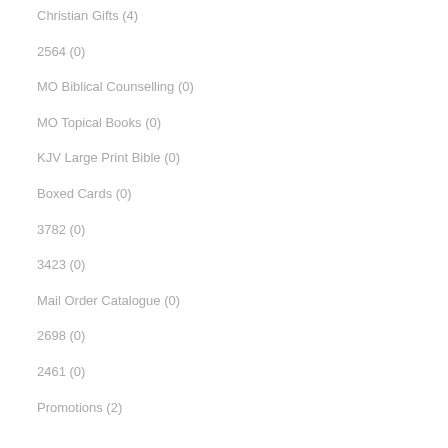Christian Gifts (4)
2564 (0)
MO Biblical Counselling (0)
MO Topical Books (0)
KJV Large Print Bible (0)
Boxed Cards (0)
3782 (0)
3423 (0)
Mail Order Catalogue (0)
2698 (0)
2461 (0)
Promotions (2)